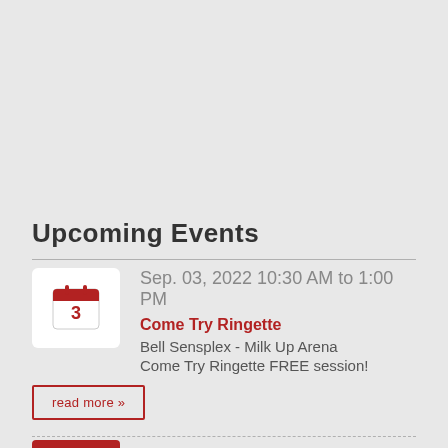Upcoming Events
Sep. 03, 2022 10:30 AM to 1:00 PM
Come Try Ringette
Bell Sensplex - Milk Up Arena
Come Try Ringette FREE session!
read more »